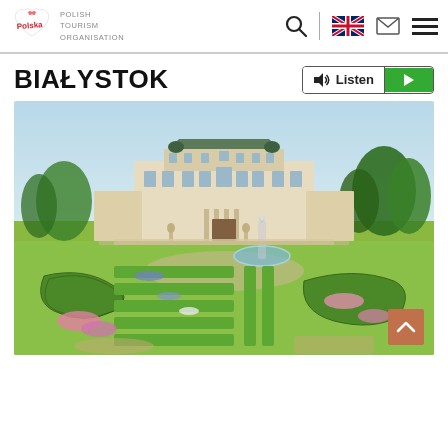Polish Tourism Organisation
BIAŁYSTOK
[Figure (photo): Branicki Palace in Białystok, Poland, with formal baroque garden featuring geometric hedge patterns, colorful flower beds, a central fountain, and tree-lined background under a light blue sky.]